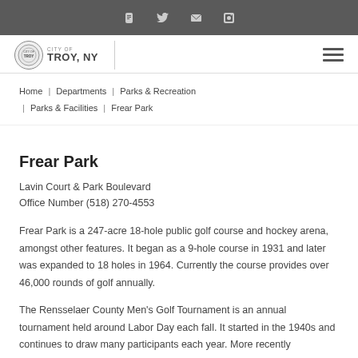City of Troy, NY — social icons header bar
CITY OF TROY, NY logo and navigation hamburger menu
Home | Departments | Parks & Recreation | Parks & Facilities | Frear Park
Frear Park
Lavin Court & Park Boulevard
Office Number (518) 270-4553
Frear Park is a 247-acre 18-hole public golf course and hockey arena, amongst other features. It began as a 9-hole course in 1931 and later was expanded to 18 holes in 1964. Currently the course provides over 46,000 rounds of golf annually.
The Rensselaer County Men's Golf Tournament is an annual tournament held around Labor Day each fall. It started in the 1940s and continues to draw many participants each year. More recently